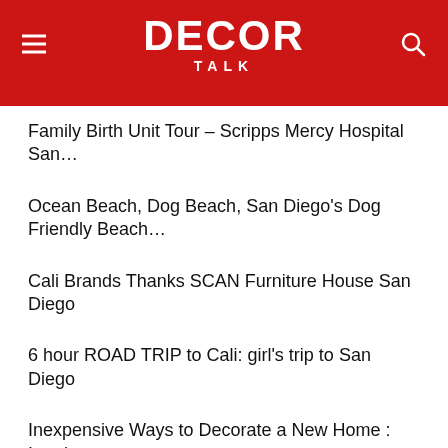DECOR TALK
Family Birth Unit Tour – Scripps Mercy Hospital San…
Ocean Beach, Dog Beach, San Diego's Dog Friendly Beach…
Cali Brands Thanks SCAN Furniture House San Diego
6 hour ROAD TRIP to Cali: girl's trip to San Diego
Inexpensive Ways to Decorate a New Home : Interior…
Interior Design | DIY Area Rugs!
3031 Kalmia St San Diego, CA
Introducing New Characters – Halloween